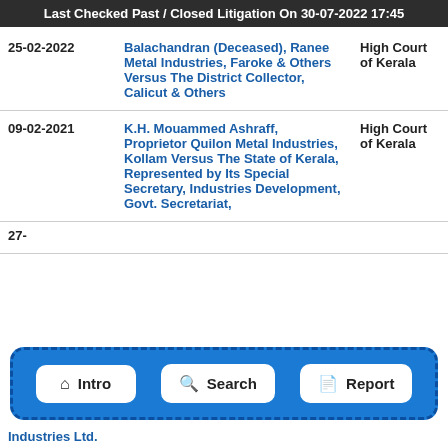Last Checked Past / Closed Litigation On 30-07-2022 17:45
| Date | Case | Court |
| --- | --- | --- |
| 25-02-2022 | Balachandran (Deceased), Ranee Metal Industries, Faroke & Others Versus The District Collector, Calicut & Others | High Court of Kerala |
| 09-02-2021 | K.H. Mouammed Ashraff, Proprietor Quilon Metal Industries, Kollam Versus The State of Kerala, Represented by Its Special Secretary, Industries Development, Govt. Secretariat, | High Court of Kerala |
| 27- | Industries Ltd. |  |
Intro | Search | Report